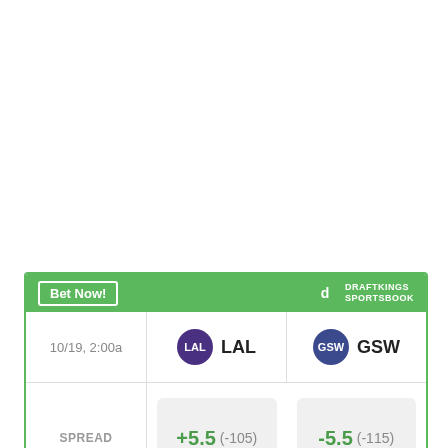|  | LAL | GSW |
| --- | --- | --- |
| 10/19, 2:00a | LAL | GSW |
| SPREAD | +5.5  (-105) | -5.5  (-115) |
| MONEY LINE | +200 | -240 |